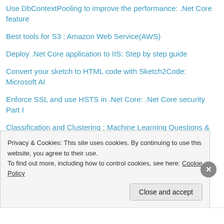Use DbContextPooling to improve the performance: .Net Core feature
Best tools for S3 : Amazon Web Service(AWS)
Deploy .Net Core application to IIS: Step by step guide
Convert your sketch to HTML code with Sketch2Code: Microsoft AI
Enforce SSL and use HSTS in .Net Core: .Net Core security Part I
Classification and Clustering : Machine Learning Questions & Answers Part - I
Convert HTML To PDF Using Angular 6
Privacy & Cookies: This site uses cookies. By continuing to use this website, you agree to their use.
To find out more, including how to control cookies, see here: Cookie Policy
Close and accept